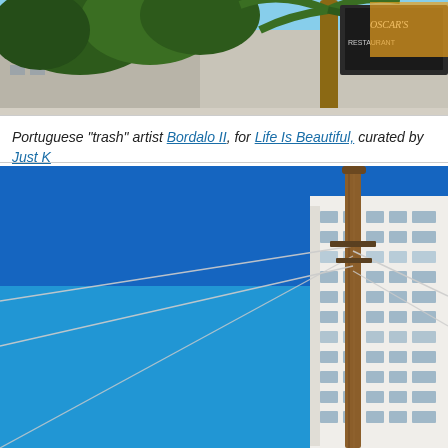[Figure (photo): Top portion of a street scene with trees, palm tree, buildings and an Oscar's sign/billboard visible against the sky.]
Portuguese “trash” artist Bordalo II, for Life Is Beautiful, curated by Just K
[Figure (photo): A utility pole against a bright blue sky with a tall white multi-story building visible in the background to the right, with wires extending from the pole.]